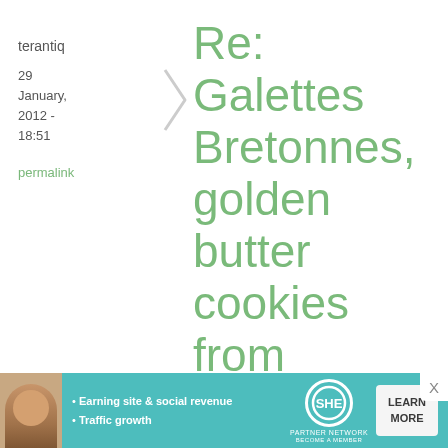terantiq
29 January, 2012 - 18:51
permalink
Re: Galettes Bretonnes, golden butter cookies from Brittany
Arrived at this site via a circuitous route looking for a Traou Mad-like recipe. What
[Figure (other): Advertisement banner for SHE Partner Network with woman photo, bullet points about earning site & social revenue and traffic growth, SHE logo, and Learn More button]